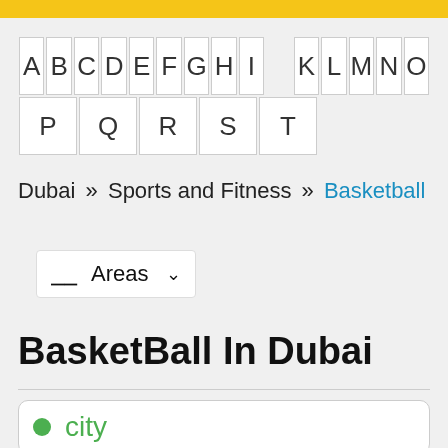A B C D E F G H I  K L M N O
P Q R S T
Dubai » Sports and Fitness » Basketball
Areas (dropdown)
BasketBall In Dubai
[Figure (other): Listing card with green dot and city label]